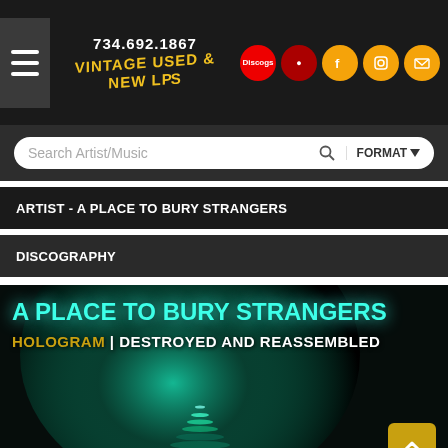Vintage Used & New LPs — 734.692.1867
ARTIST - A PLACE TO BURY STRANGERS
DISCOGRAPHY
[Figure (illustration): Album cover for A Place To Bury Strangers - Hologram / Destroyed And Reassembled, showing cyan/teal text on dark background with glowing cone/lamp visual]